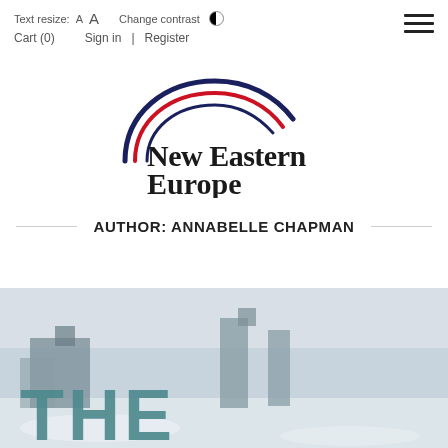Text resize: A A   Change contrast   Cart (0)   Sign in  |  Register
[Figure (logo): New Eastern Europe logo — curved arc in dark blue and red above the text 'New Eastern Europe' in bold black serif font]
AUTHOR: ANNABELLE CHAPMAN
[Figure (photo): Book cover photograph showing a wintry landscape with buildings and silos under a pale sky, with large teal letters 'THE' visible at the bottom]